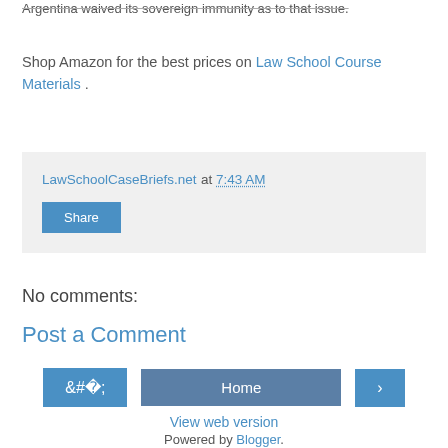Argentina waived its sovereign immunity as to that issue.
Shop Amazon for the best prices on Law School Course Materials .
LawSchoolCaseBriefs.net at 7:43 AM
Share
No comments:
Post a Comment
Home
View web version
Powered by Blogger.